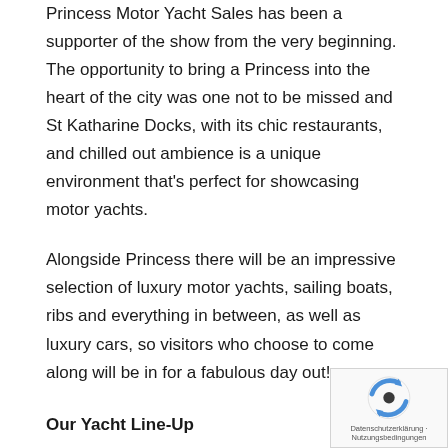Princess Motor Yacht Sales has been a supporter of the show from the very beginning. The opportunity to bring a Princess into the heart of the city was one not to be missed and St Katharine Docks, with its chic restaurants, and chilled out ambience is a unique environment that's perfect for showcasing motor yachts.
Alongside Princess there will be an impressive selection of luxury motor yachts, sailing boats, ribs and everything in between, as well as luxury cars, so visitors who choose to come along will be in for a fabulous day out!
Our Yacht Line-Up
Princess 62
The Princess 62 was revealed for the first time at the British Motor Yacht Show in May.  This superb flybridge